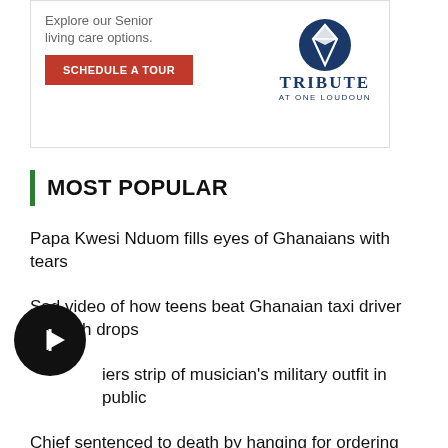[Figure (other): Advertisement banner for Tribute at One Loudoun senior living, with 'Explore our Senior living care options.' text, a red 'SCHEDULE A TOUR' button, and the Tribute at One Loudoun logo with a compass-like icon.]
MOST POPULAR
Papa Kwesi Nduom fills eyes of Ghanaians with tears
Sad video of how teens beat Ghanaian taxi driver to death drops
Soldiers strip of musician's military outfit in public
Chief sentenced to death by hanging for ordering the killing of boy accused of wizardry
Kumawood in mourning as another actor passes on